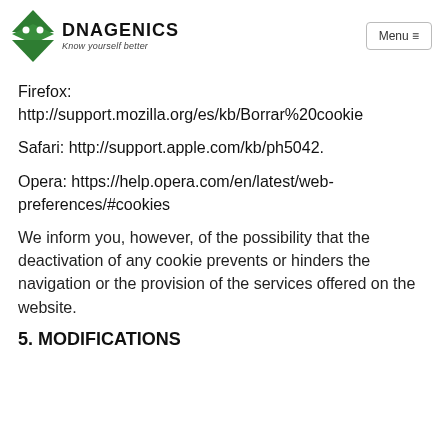DNAGENICS – Know yourself better | Menu
Firefox: http://support.mozilla.org/es/kb/Borrar%20cookie
Safari: http://support.apple.com/kb/ph5042.
Opera: https://help.opera.com/en/latest/web-preferences/#cookies
We inform you, however, of the possibility that the deactivation of any cookie prevents or hinders the navigation or the provision of the services offered on the website.
5. MODIFICATIONS